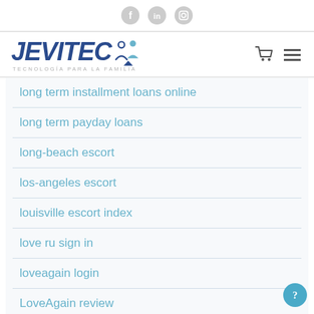Social icons: Facebook, LinkedIn, Instagram
[Figure (logo): JEVITEC logo with blue bold italic text, people icon, subtitle TECNOLOGÍA PARA LA FAMILIA, cart icon and hamburger menu on right]
long term installment loans online
long term payday loans
long-beach escort
los-angeles escort
louisville escort index
love ru sign in
loveagain login
LoveAgain review
LoveAgain visitors